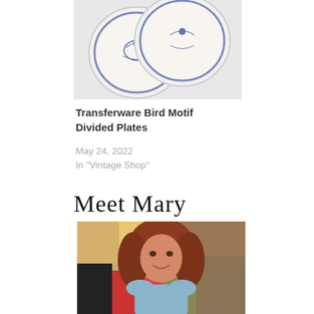[Figure (photo): Two blue and white transferware divided plates with bird motif, displayed on plate stands against white background]
Transferware Bird Motif Divided Plates
May 24, 2022
In "Vintage Shop"
Meet Mary
[Figure (photo): Portrait photo of a woman with auburn/red curly hair wearing a light blue denim shirt, smiling, with colorful abstract art in the background]